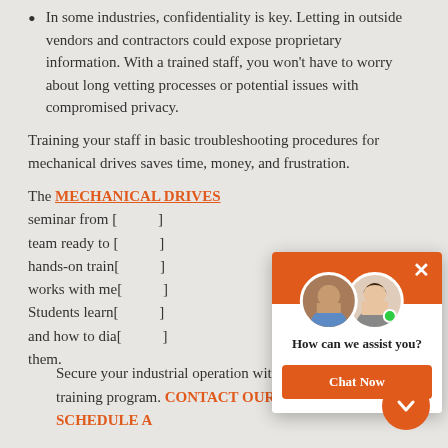In some industries, confidentiality is key. Letting in outside vendors and contractors could expose proprietary information. With a trained staff, you won't have to worry about long vetting processes or potential issues with compromised privacy.
Training your staff in basic troubleshooting procedures for mechanical drives saves time, money, and frustration.
The MECHANICAL DRIVES seminar from [...] team ready to [...] hands-on train[ing ...] works with me[chanical drives ...] Students learn[...] and how to dia[gnose ...] them.
[Figure (screenshot): Chat widget popup with orange header, two avatars, 'How can we assist you?' heading, and 'Chat Now' button]
Secure your industrial operation with this specialized training program. CONTACT OUR STAFF TO SCHEDULE A